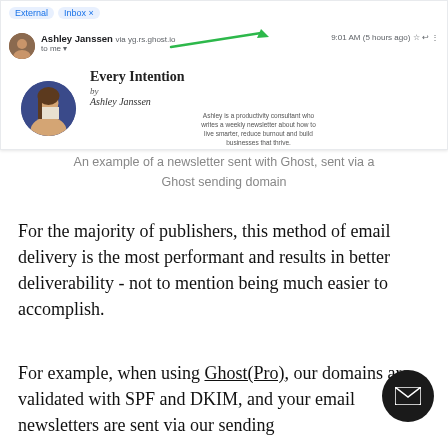[Figure (screenshot): Gmail screenshot showing an email from Ashley Janssen with tags 'External' and 'Inbox ×', sender name and email address, time '9:01 AM (5 hours ago)', and a newsletter header with profile photo, 'Every Intention by Ashley Janssen' branding, and green arrow pointing to ghost.io sending domain]
An example of a newsletter sent with Ghost, sent via a Ghost sending domain
For the majority of publishers, this method of email delivery is the most performant and results in better deliverability - not to mention being much easier to accomplish.
For example, when using Ghost(Pro), our domains are validated with SPF and DKIM, and your email newsletters are sent via our sending